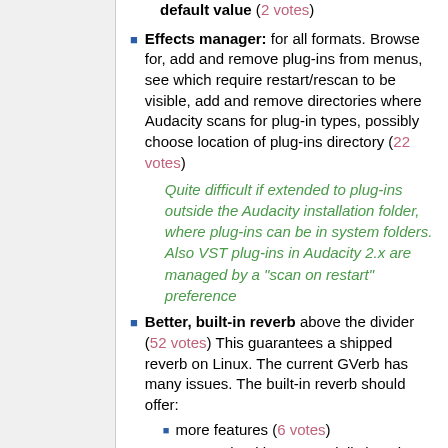default value (2 votes)
Effects manager: for all formats. Browse for, add and remove plug-ins from menus, see which require restart/rescan to be visible, add and remove directories where Audacity scans for plug-in types, possibly choose location of plug-ins directory (22 votes)
Quite difficult if extended to plug-ins outside the Audacity installation folder, where plug-ins can be in system folders. Also VST plug-ins in Audacity 2.x are managed by a "scan on restart" preference
Better, built-in reverb above the divider (52 votes) This guarantees a shipped reverb on Linux. The current GVerb has many issues. The built-in reverb should offer:
more features (6 votes)
more algorithms especially impulse response convolution reverb (7 votes)